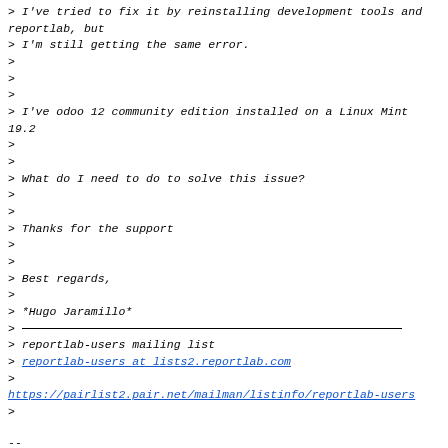> I've tried to fix it by reinstalling development tools and reportlab, but
> I'm still getting the same error.
>
>
>
> I've odoo 12 community edition installed on a Linux Mint 19.2
>
>
> What do I need to do to solve this issue?
>
>
> Thanks for the support
>
>
> Best regards,
>
> *Hugo Jaramillo*
> _______________________________________________
> reportlab-users mailing list
> reportlab-users at lists2.reportlab.com
> https://pairlist2.pair.net/mailman/listinfo/reportlab-users
>
--
Andy Robinson